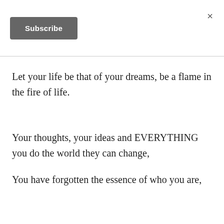[Figure (other): Subscribe button — dark grey rounded rectangle with white bold text 'Subscribe']
×
Let your life be that of your dreams, be a flame in the fire of life.
Your thoughts, your ideas and EVERYTHING you do the world they can change,
You have forgotten the essence of who you are,